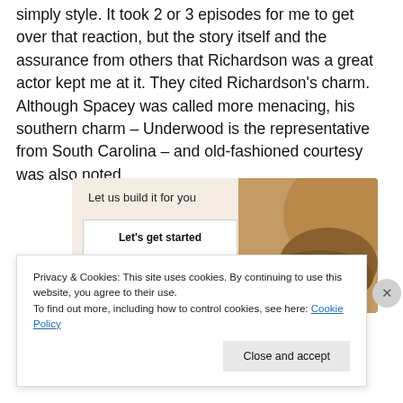simply style. It took 2 or 3 episodes for me to get over that reaction, but the story itself and the assurance from others that Richardson was a great actor kept me at it. They cited Richardson's charm. Although Spacey was called more menacing, his southern charm – Underwood is the representative from South Carolina – and old-fashioned courtesy was also noted.
[Figure (other): Advertisement box with beige background showing 'Let us build it for you' text, a 'Let's get started' button, and a circular photo of a person working with their hands]
Privacy & Cookies: This site uses cookies. By continuing to use this website, you agree to their use.
To find out more, including how to control cookies, see here: Cookie Policy
Close and accept